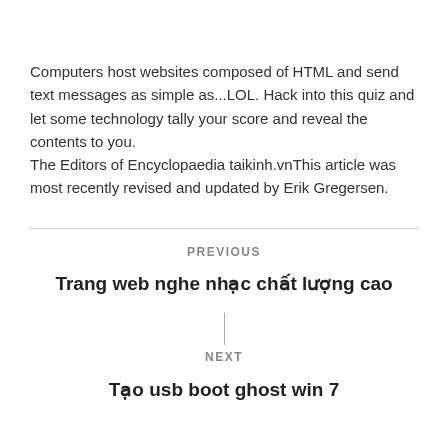Computers host websites composed of HTML and send text messages as simple as...LOL. Hack into this quiz and let some technology tally your score and reveal the contents to you.
The Editors of Encyclopaedia taikinh.vnThis article was most recently revised and updated by Erik Gregersen.
PREVIOUS
Trang web nghe nhạc chất lượng cao
NEXT
Tạo usb boot ghost win 7